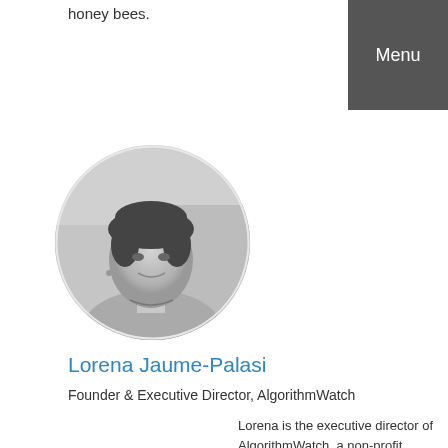honey bees.
Menu
[Figure (photo): Circular portrait photo of Lorena Jaume-Palasi, a woman with short dark hair, black and white photo]
Lorena Jaume-Palasi
Founder & Executive Director, AlgorithmWatch
Lorena is the executive director of AlgorithmWatch, a non-profit organisation to evaluate and shed light on algorithmic and automatization processes that have a social relevance. Her work focuses on philosophy of law and ethics of automatization and digitization. Lorena has been appointed... Read More →